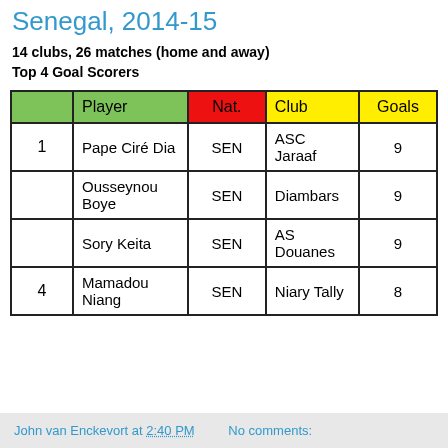Senegal, 2014-15
14 clubs, 26 matches (home and away)
Top 4 Goal Scorers
|  | Player | Nat. | Club | Goals |
| --- | --- | --- | --- | --- |
| 1 | Pape Ciré Dia | SEN | ASC Jaraaf | 9 |
|  | Ousseynou Boye | SEN | Diambars | 9 |
|  | Sory Keita | SEN | AS Douanes | 9 |
| 4 | Mamadou Niang | SEN | Niary Tally | 8 |
John van Enckevort at 2:40 PM   No comments: